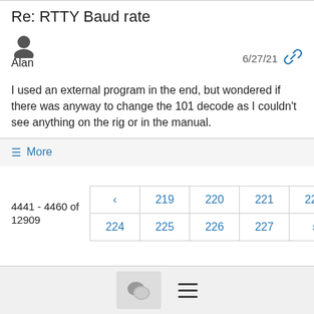Re: RTTY Baud rate
Alan  6/27/21
I used an external program in the end, but wondered if there was anyway to change the 101 decode as I couldn't  see anything on the rig or in the manual.
☰ More
4441 - 4460 of 12909
< 219 220 221 222 223 224 225 226 227 >